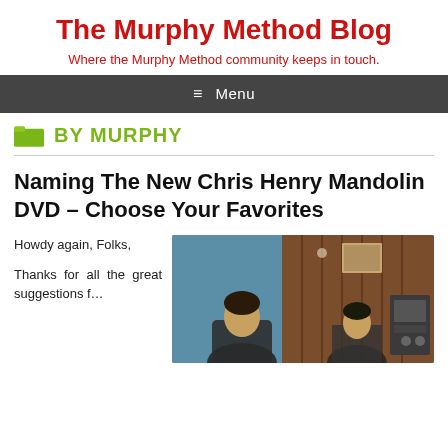The Murphy Method Blog
Where the Murphy Method community keeps in touch.
≡ Menu
BY MURPHY
Naming The New Chris Henry Mandolin DVD – Choose Your Favorites
Howdy again, Folks,

Thanks for all the great suggestions f…
[Figure (photo): Two people in a room with wood-paneled walls, blue door/wall on left, audio equipment visible on right side.]